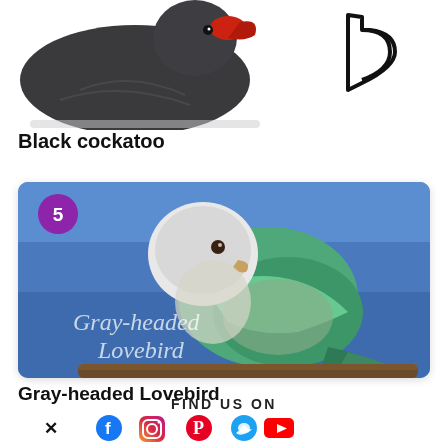[Figure (photo): Partial photo of a black cockatoo bird with red markings on beak, against white background, with a Bing logo visible on the right side]
Black cockatoo
[Figure (photo): Photo of a Gray-headed Lovebird perched on a branch, showing white/gray head and green/teal body plumage against a blue sky background, with number badge '5' in purple circle top-left, and watermark text 'Gray-headed Lovebird' overlaid]
Gray-headed Lovebird
FIND US ON
[Figure (other): Row of social media icons: X (Twitter), Facebook, Instagram, Pinterest, Twitter, YouTube]